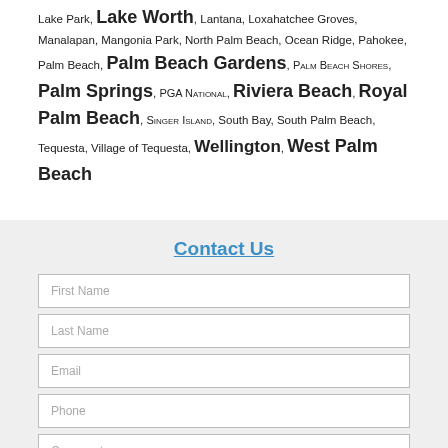Lake Park, Lake Worth, Lantana, Loxahatchee Groves, Manalapan, Mangonia Park, North Palm Beach, Ocean Ridge, Pahokee, Palm Beach, Palm Beach Gardens, Palm Beach Shores, Palm Springs, PGA National, Riviera Beach, Royal Palm Beach, Singer Island, South Bay, South Palm Beach, Tequesta, Village of Tequesta, Wellington, West Palm Beach
Contact Us
First Name
Last Name
Email
Phone
Comments